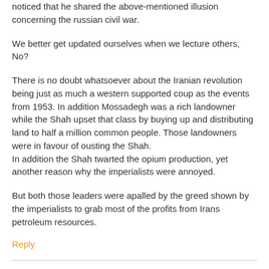noticed that he shared the above-mentioned illusion concerning the russian civil war.
We better get updated ourselves when we lecture others, No?
There is no doubt whatsoever about the Iranian revolution being just as much a western supported coup as the events from 1953. In addition Mossadegh was a rich landowner while the Shah upset that class by buying up and distributing land to half a million common people. Those landowners were in favour of ousting the Shah.
In addition the Shah twarted the opium production, yet another reason why the imperialists were annoyed.
But both those leaders were apalled by the greed shown by the imperialists to grab most of the profits from Irans petroleum resources.
Reply